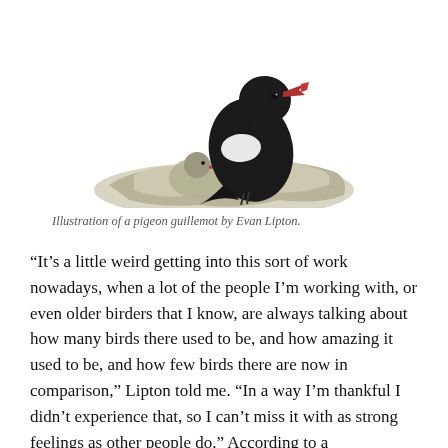[Figure (illustration): Illustration of a pigeon guillemot bird, black with white wing patches and a red beak, perched on rocky ledge with a chick below it.]
Illustration of a pigeon guillemot by Evan Lipton.
“It’s a little weird getting into this sort of work nowadays, when a lot of the people I’m working with, or even older birders that I know, are always talking about how many birds there used to be, and how amazing it used to be, and how few birds there are now in comparison,” Lipton told me. “In a way I’m thankful I didn’t experience that, so I can’t miss it with as strong feelings as other people do.” According to a